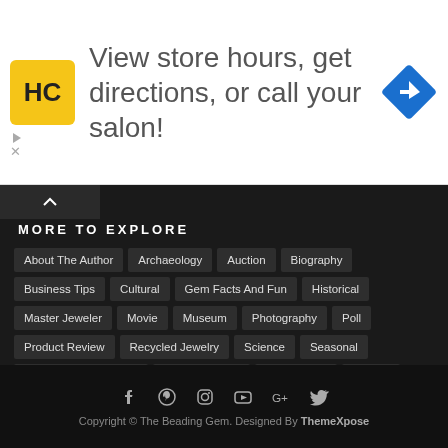[Figure (infographic): Advertisement banner with HC logo, text 'View store hours, get directions, or call your salon!', and a blue navigation diamond icon]
MORE TO EXPLORE
About The Author
Archaeology
Auction
Biography
Business Tips
Cultural
Gem Facts And Fun
Historical
Master Jeweler
Movie
Museum
Photography
Poll
Product Review
Recycled Jewelry
Science
Seasonal
Supplies And Displays
Tips And Tricks
Tool Review
Tutorial
Video Tutorial
Virtual Class
Copyright © The Beading Gem. Designed By ThemeXpose